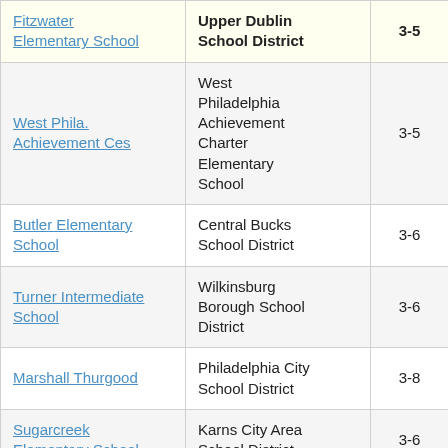| School | District | Grades |  |
| --- | --- | --- | --- |
| Fitzwater Elementary School | Upper Dublin School District | 3-5 | 5. |
| West Phila. Achievement Ces | West Philadelphia Achievement Charter Elementary School | 3-5 | 4. |
| Butler Elementary School | Central Bucks School District | 3-6 | 2. |
| Turner Intermediate School | Wilkinsburg Borough School District | 3-6 | 3. |
| Marshall Thurgood | Philadelphia City School District | 3-8 | 4. |
| Sugarcreek Elementary School | Karns City Area School District | 3-6 | 3. |
| Kathryn D. Markley | Great Valley | 3-5 | 3 |